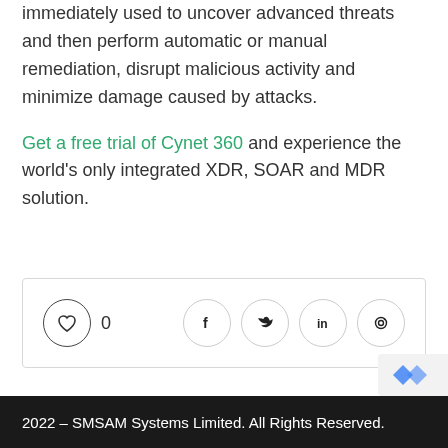immediately used to uncover advanced threats and then perform automatic or manual remediation, disrupt malicious activity and minimize damage caused by attacks.
Get a free trial of Cynet 360 and experience the world's only integrated XDR, SOAR and MDR solution.
[Figure (other): Social sharing bar with a heart/like button showing count 0, and social media icons for Facebook, Twitter, LinkedIn, and Pinterest]
[Figure (other): reCAPTCHA badge partially visible in bottom right corner]
2022 – SMSAM Systems Limited. All Rights Reserved.